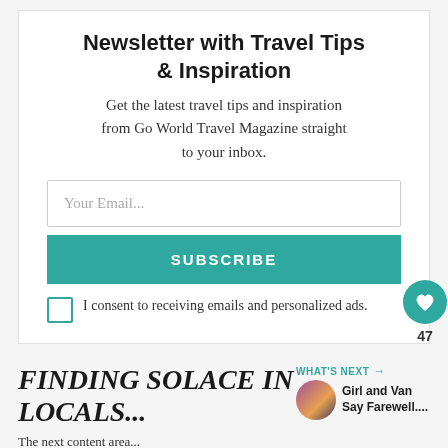Newsletter with Travel Tips & Inspiration
Get the latest travel tips and inspiration from Go World Travel Magazine straight to your inbox.
Your Email...
SUBSCRIBE
I consent to receiving emails and personalized ads.
47
FINDING SOLACE IN LOCALS...
WHAT'S NEXT → Girl and Van Say Farewell....
The next content area...